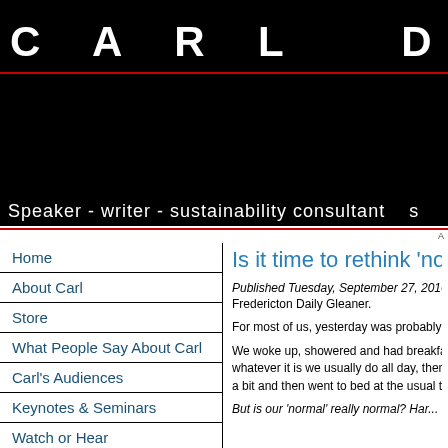CARL DUIVEN
Speaker - writer - sustainability consultant
Home
About Carl
Store
What People Say About Carl
Carl's Audiences
Keynotes & Seminars
Watch or Hear
Request a Presentation
Sign Up for News
Is it time to rethink 'no...
Published Tuesday, September 27, 2016 Fredericton Daily Gleaner.
For most of us, yesterday was probably...
We woke up, showered and had breakfast, whatever it is we usually do all day, then a bit and then went to bed at the usual ti
But is our 'normal' really normal? Har...